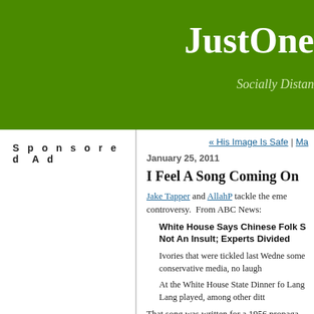JustOne... Socially Distan...
Sponsored Ad
« His Image Is Safe | Ma...
January 25, 2011
I Feel A Song Coming On
Jake Tapper and AllahP tackle the eme... controversy.  From ABC News:
White House Says Chinese Folk S... Not An Insult; Experts Divided
Ivories that were tickled last Wedne... some conservative media, no laugh...
At the White House State Dinner fo... Lang Lang played, among other ditt...
That song was written for a 1956 propaga... victory (alongside its heroic North Korean... dog Americans at a battle during the Kor...